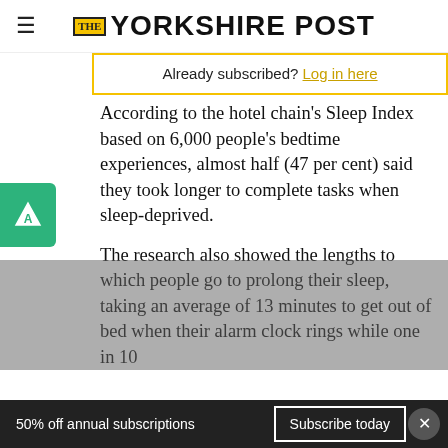THE YORKSHIRE POST
Already subscribed? Log in here
According to the hotel chain's Sleep Index based on 6,000 people's bedtime experiences, almost half (47 per cent) said they took longer to complete tasks when sleep-deprived.
The research also showed the lengths to which people go to prolong their sleep, taking an average of 13 minutes to get out of bed when their alarm clock rings while one in 10
50% off annual subscriptions  Subscribe today  ×